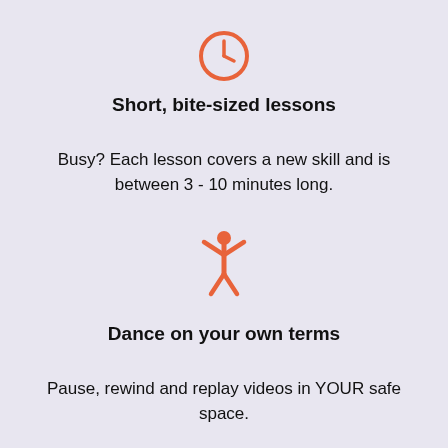[Figure (illustration): Orange clock icon: a circle outline in orange with clock hands showing roughly 3 o'clock position]
Short, bite-sized lessons
Busy? Each lesson covers a new skill and is between 3 - 10 minutes long.
[Figure (illustration): Orange person icon with arms raised in a celebratory pose]
Dance on your own terms
Pause, rewind and replay videos in YOUR safe space.